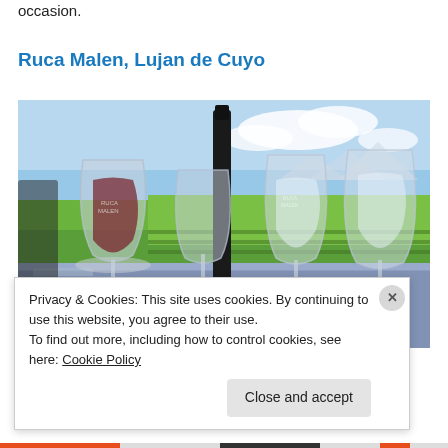occasion.
Ruca Malen, Lujan de Cuyo
[Figure (photo): Wine glasses on a table outdoors at Ruca Malen winery, with green vineyard fields and mountains in the background. Several wine glasses are arranged on a blue-gray tablecloth, one filled with red wine and others with white wine or water.]
Privacy & Cookies: This site uses cookies. By continuing to use this website, you agree to their use.
To find out more, including how to control cookies, see here: Cookie Policy
Close and accept